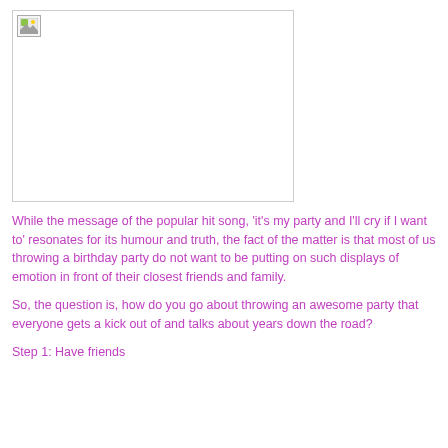[Figure (photo): A broken/missing image placeholder box]
While the message of the popular hit song, 'it's my party and I'll cry if I want to' resonates for its humour and truth, the fact of the matter is that most of us throwing a birthday party do not want to be putting on such displays of emotion in front of their closest friends and family.
So, the question is, how do you go about throwing an awesome party that everyone gets a kick out of and talks about years down the road?
Step 1: Have friends